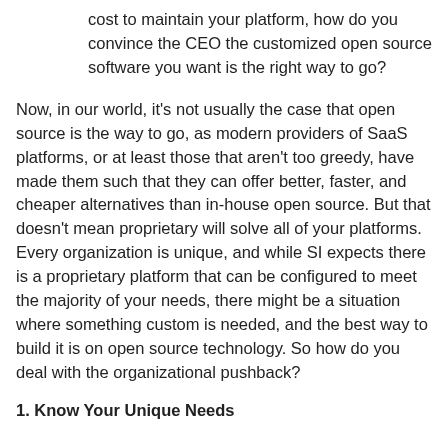cost to maintain your platform, how do you convince the CEO the customized open source software you want is the right way to go?
Now, in our world, it's not usually the case that open source is the way to go, as modern providers of SaaS platforms, or at least those that aren't too greedy, have made them such that they can offer better, faster, and cheaper alternatives than in-house open source. But that doesn't mean proprietary will solve all of your platforms. Every organization is unique, and while SI expects there is a proprietary platform that can be configured to meet the majority of your needs, there might be a situation where something custom is needed, and the best way to build it is on open source technology. So how do you deal with the organizational pushback?
1. Know Your Unique Needs